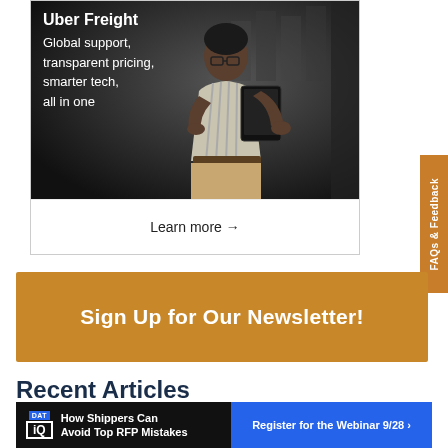[Figure (photo): Uber Freight advertisement showing a person holding a tablet in a warehouse setting. White text overlay reads: 'Uber Freight' as heading and 'Global support, transparent pricing, smarter tech, all in one' as tagline. A 'Learn more →' button is at the bottom.]
[Figure (infographic): Orange vertical sidebar tab on the right reading 'FAQs & Feedback']
[Figure (infographic): Orange horizontal newsletter signup banner reading 'Sign Up for Our Newsletter!']
Recent Articles
[Figure (infographic): Bottom banner ad for DAT IQ webinar: 'How Shippers Can Avoid Top RFP Mistakes' with 'Register for the Webinar 9/28 ›' on blue background]